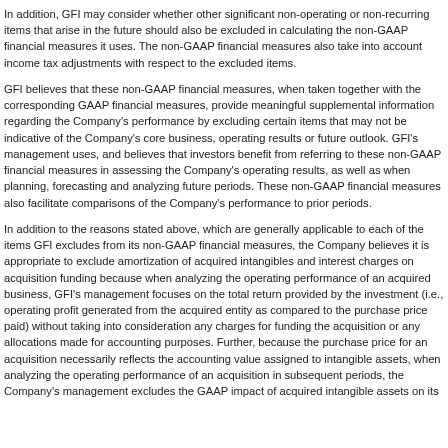In addition, GFI may consider whether other significant non-operating or non-recurring items that arise in the future should also be excluded in calculating the non-GAAP financial measures it uses. The non-GAAP financial measures also take into account income tax adjustments with respect to the excluded items.
GFI believes that these non-GAAP financial measures, when taken together with the corresponding GAAP financial measures, provide meaningful supplemental information regarding the Company's performance by excluding certain items that may not be indicative of the Company's core business, operating results or future outlook. GFI's management uses, and believes that investors benefit from referring to these non-GAAP financial measures in assessing the Company's operating results, as well as when planning, forecasting and analyzing future periods. These non-GAAP financial measures also facilitate comparisons of the Company's performance to prior periods.
In addition to the reasons stated above, which are generally applicable to each of the items GFI excludes from its non-GAAP financial measures, the Company believes it is appropriate to exclude amortization of acquired intangibles and interest charges on acquisition funding because when analyzing the operating performance of an acquired business, GFI's management focuses on the total return provided by the investment (i.e., operating profit generated from the acquired entity as compared to the purchase price paid) without taking into consideration any charges for funding the acquisition or any allocations made for accounting purposes. Further, because the purchase price for an acquisition necessarily reflects the accounting value assigned to intangible assets, when analyzing the operating performance of an acquisition in subsequent periods, the Company's management excludes the GAAP impact of acquired intangible assets on its